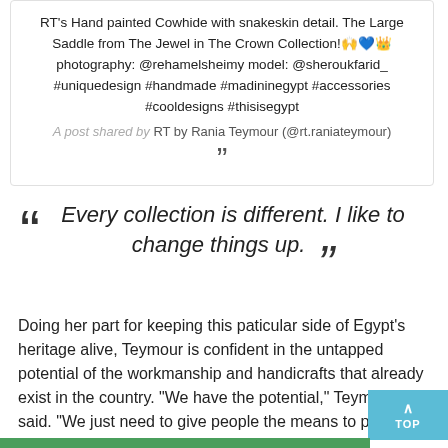RT's Hand painted Cowhide with snakeskin detail. The Large Saddle from The Jewel in The Crown Collection!🙌💙👑 photography: @rehamelsheimy model: @sheroukfarid_ #uniquedesign #handmade #madininegypt #accessories #cooldesigns #thisisegypt
A post shared by RT by Rania Teymour (@rt.raniateymour)
Every collection is different. I like to change things up.
Doing her part for keeping this paticular side of Egypt's heritage alive, Teymour is confident in the untapped potential of the workmanship and handicrafts that already exist in the country. "We have the potential," Teymour said. "We just need to give people the means to produce things that are different."